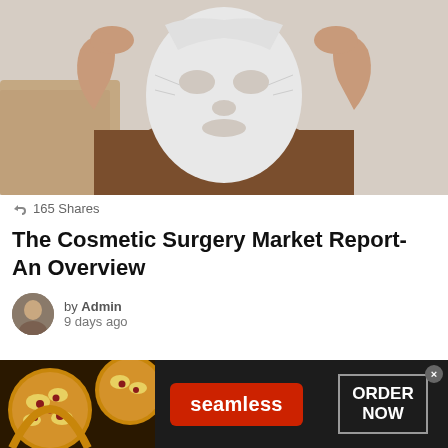[Figure (photo): Person holding a white sheet face mask up to their face, wearing a brown t-shirt, seated on a beige couch background]
165 Shares
The Cosmetic Surgery Market Report- An Overview
by Admin
9 days ago
[Figure (photo): Seamless food delivery advertisement banner with pizza image, red Seamless logo button, and ORDER NOW button on dark background]